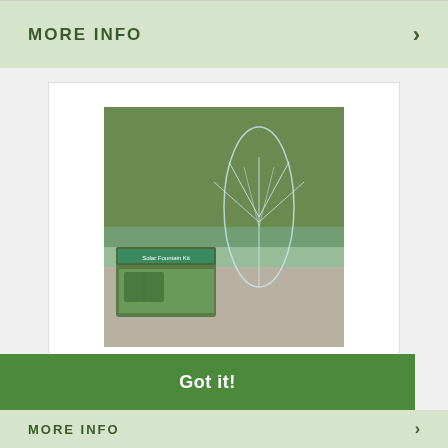MORE INFO ›
[Figure (photo): A garden pond fountain product photo showing a fountain spraying water with greenery in the background, along with a product box in the foreground.]
The Pondkeeper website uses cookies to make sure you get the best browsing experience.  Find out more
Got it!
MORE INFO ›